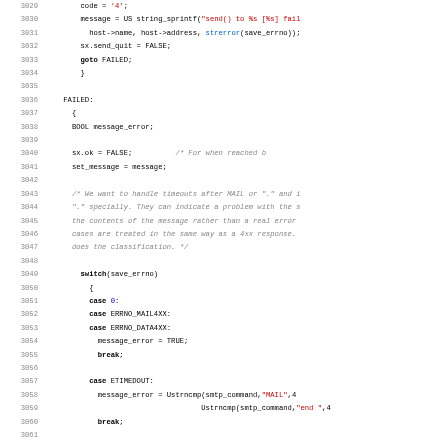[Figure (screenshot): Source code listing in C, lines 3029-3061, showing SMTP error handling code with FAILED label, switch statement on save_errno, and cases for ERRNO_MAIL4XX, ERRNO_DATA4XX, ETIMEDOUT]